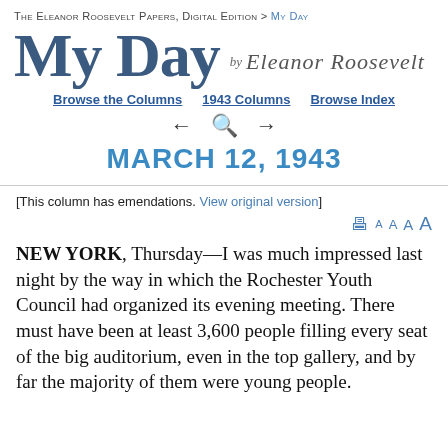The Eleanor Roosevelt Papers, Digital Edition > My Day
My Day by Eleanor Roosevelt
Browse the Columns   1943 Columns   Browse Index
MARCH 12, 1943
[This column has emendations. View original version]
NEW YORK, Thursday—I was much impressed last night by the way in which the Rochester Youth Council had organized its evening meeting. There must have been at least 3,600 people filling every seat of the big auditorium, even in the top gallery, and by far the majority of them were young people.